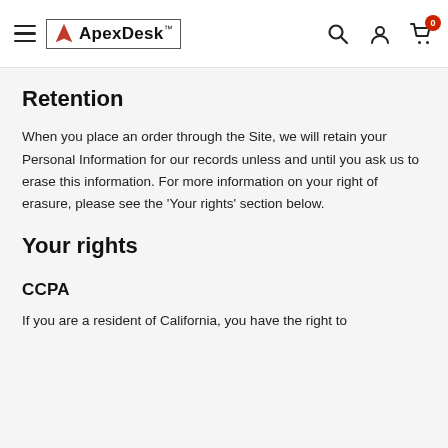ApexDesk™ — navigation header with hamburger menu, logo, search, account, and cart icons
Retention
When you place an order through the Site, we will retain your Personal Information for our records unless and until you ask us to erase this information. For more information on your right of erasure, please see the 'Your rights' section below.
Your rights
CCPA
If you are a resident of California, you have the right to